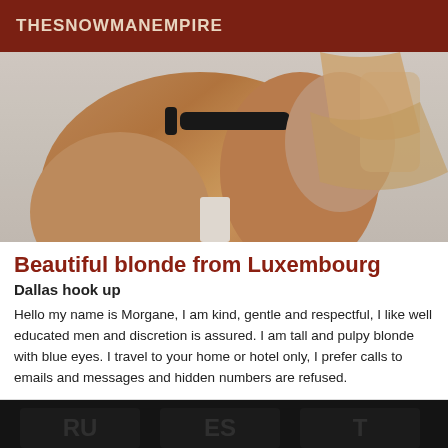THESNOWMANEMPIRE
[Figure (photo): Close-up photo of a woman in black lingerie, viewed from behind, leaning against a wall with blonde hair visible]
Beautiful blonde from Luxembourg
Dallas hook up
Hello my name is Morgane, I am kind, gentle and respectful, I like well educated men and discretion is assured. I am tall and pulpy blonde with blue eyes. I travel to your home or hotel only, I prefer calls to emails and messages and hidden numbers are refused.
[Figure (photo): Partial view of a dark image with text/signs visible at the bottom of the page]